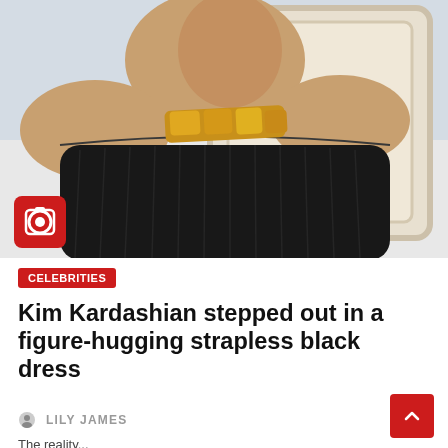[Figure (photo): Woman in black off-shoulder strapless dress with gold chain necklace, sitting on a cream-colored chair, with dark hair in a high ponytail, photographed from the chest up against a blurred light background.]
CELEBRITIES
Kim Kardashian stepped out in a figure-hugging strapless black dress
LILY JAMES